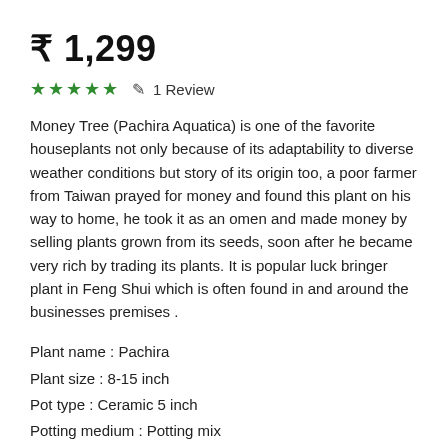₹ 1,299
★★★★★  ✎  1 Review
Money Tree (Pachira Aquatica) is one of the favorite houseplants not only because of its adaptability to diverse weather conditions but story of its origin too, a poor farmer from Taiwan prayed for money and found this plant on his way to home, he took it as an omen and made money by selling plants grown from its seeds, soon after he became very rich by trading its plants. It is popular luck bringer plant in Feng Shui which is often found in and around the businesses premises .
Plant name : Pachira
Plant size : 8-15 inch
Pot type : Ceramic 5 inch
Potting medium : Potting mix
Plant age : 2+ years